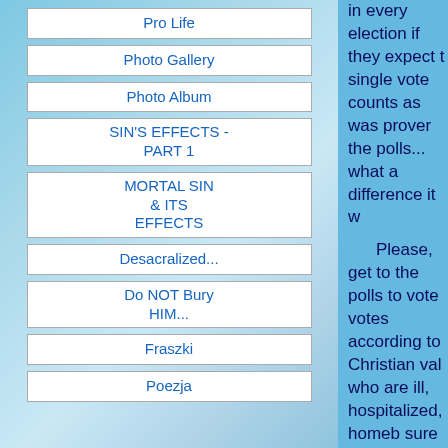Pro Life
Photo Gallery
Photo Album
SIN'S EFFECTS - PART 1
MORTAL SIN & ITS EFFECTS
Desacralized...
Do NOT Bury HIM...
Fraszki
Poezja
in every election if they expect t single vote counts as was prover the polls... what a difference it w
Please, get to the polls to vote votes according to Christian val who are ill, hospitalized, homeb sure they can cast their absentee community to help all our citize
To get rid of Obama Care and must vote out the Dems! Our co evil. As Catholics and Christians importantly our religious - God- we are now fighting the governm healthcare.
+ Refer also to the section on V
++ May God bless the USA!
+++To obtain your absentee bal application for the November 6t